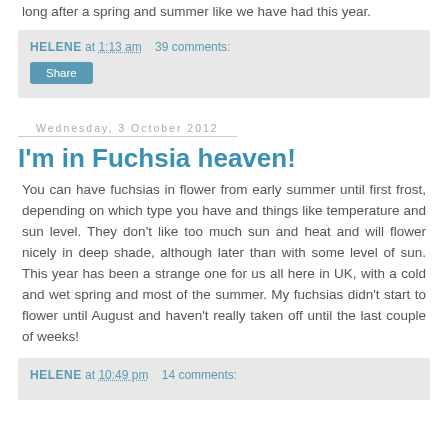long after a spring and summer like we have had this year.
HELENE at 1:13 am   39 comments:
Share
Wednesday, 3 October 2012
I'm in Fuchsia heaven!
You can have fuchsias in flower from early summer until first frost, depending on which type you have and things like temperature and sun level. They don't like too much sun and heat and will flower nicely in deep shade, although later than with some level of sun. This year has been a strange one for us all here in UK, with a cold and wet spring and most of the summer. My fuchsias didn't start to flower until August and haven't really taken off until the last couple of weeks!
HELENE at 10:49 pm   14 comments: